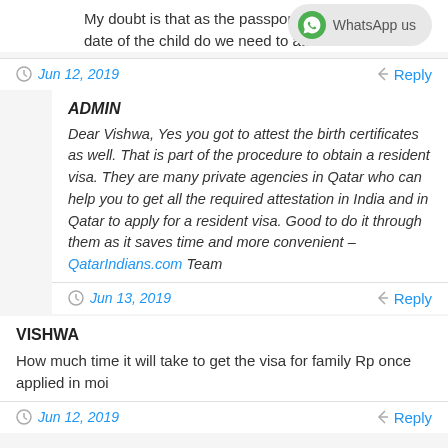My doubt is that as the passport confirms the birth date of the child do we need to attest them still.
Jun 12, 2019
Reply
ADMIN
Dear Vishwa, Yes you got to attest the birth certificates as well. That is part of the procedure to obtain a resident visa. They are many private agencies in Qatar who can help you to get all the required attestation in India and in Qatar to apply for a resident visa. Good to do it through them as it saves time and more convenient – QatarIndians.com Team
Jun 13, 2019
Reply
VISHWA
How much time it will take to get the visa for family Rp once applied in moi
Jun 12, 2019
Reply